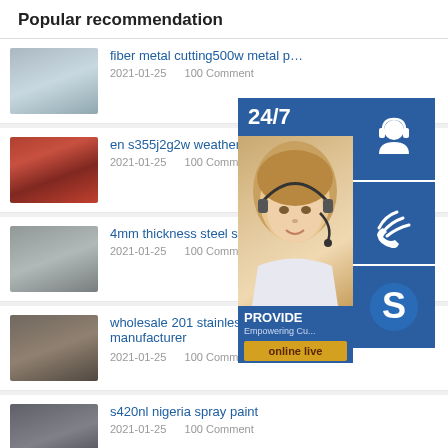Popular recommendation
fiber metal cutting500w metal pri...
en s355j2g2w weather steel for c...
4mm thickness steel strip in chin...
wholesale 201 stainless steel stra... manufacturer
s420nl nigeria spray paint
serrated fin tube on sales quality serrated fin tube
[Figure (infographic): Customer service widget overlay showing a woman with headset, 24/7 text, three blue icon buttons (headset, phone, Skype), and an 'online live' button]